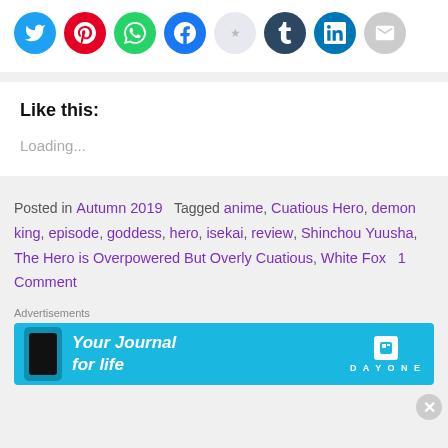[Figure (illustration): Row of social media share icons: Twitter (blue), Pinterest (red), WhatsApp (green), Facebook (blue), Reddit (light gray/white), Tumblr (dark teal), LinkedIn (blue), Email (gray)]
Like this:
Loading...
Posted in Autumn 2019   Tagged anime, Cuatious Hero, demon king, episode, goddess, hero, isekai, review, Shinchou Yuusha, The Hero is Overpowered But Overly Cuatious, White Fox   1 Comment
Advertisements
[Figure (illustration): Day One app advertisement banner: cyan/blue background, phone graphic on left, text 'Your Journal for life' in white bold italic, Day One logo on right]